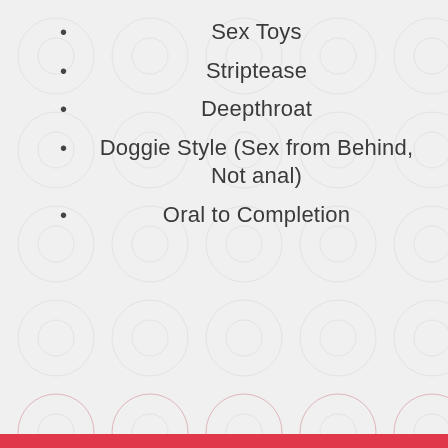Sex Toys
Striptease
Deepthroat
Doggie Style (Sex from Behind, Not anal)
Oral to Completion